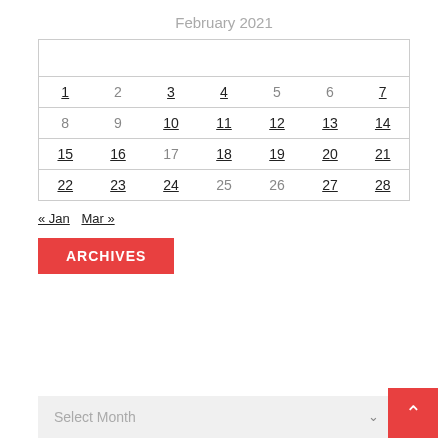February 2021
|  |  |  |  |  |  |  |
| --- | --- | --- | --- | --- | --- | --- |
|  |  |  |  |  |  |  |
| 1 | 2 | 3 | 4 | 5 | 6 | 7 |
| 8 | 9 | 10 | 11 | 12 | 13 | 14 |
| 15 | 16 | 17 | 18 | 19 | 20 | 21 |
| 22 | 23 | 24 | 25 | 26 | 27 | 28 |
« Jan   Mar »
ARCHIVES
Select Month